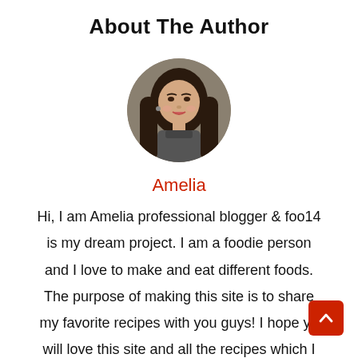About The Author
[Figure (photo): Circular portrait photo of Amelia, a woman with long dark hair, smiling, wearing a patterned collar top.]
Amelia
Hi, I am Amelia professional blogger & foo14 is my dream project. I am a foodie person and I love to make and eat different foods. The purpose of making this site is to share my favorite recipes with you guys! I hope you will love this site and all the recipes which I